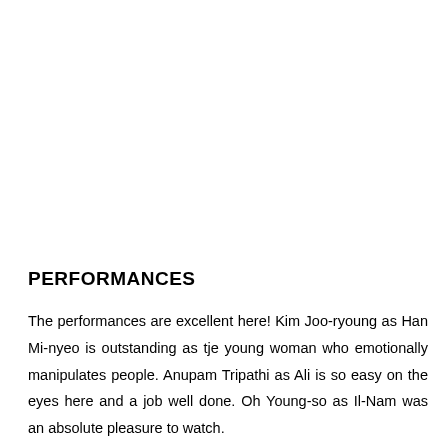PERFORMANCES
The performances are excellent here! Kim Joo-ryoung as Han Mi-nyeo is outstanding as tje young woman who emotionally manipulates people. Anupam Tripathi as Ali is so easy on the eyes here and a job well done. Oh Young-so as Il-Nam was an absolute pleasure to watch.